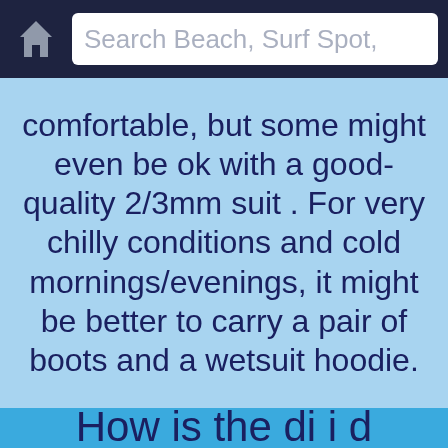Search Beach, Surf Spot,
comfortable, but some might even be ok with a good-quality 2/3mm suit . For very chilly conditions and cold mornings/evenings, it might be better to carry a pair of boots and a wetsuit hoodie.
How is the di i d